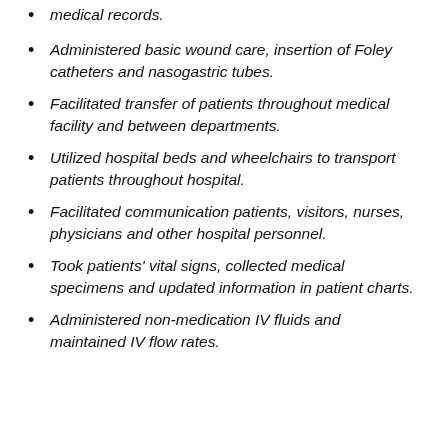medical records.
Administered basic wound care, insertion of Foley catheters and nasogastric tubes.
Facilitated transfer of patients throughout medical facility and between departments.
Utilized hospital beds and wheelchairs to transport patients throughout hospital.
Facilitated communication patients, visitors, nurses, physicians and other hospital personnel.
Took patients' vital signs, collected medical specimens and updated information in patient charts.
Administered non-medication IV fluids and maintained IV flow rates.